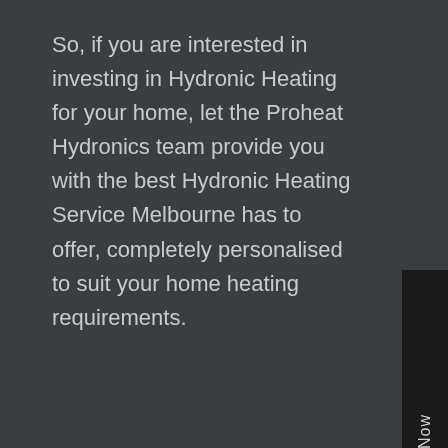So, if you are interested in investing in Hydronic Heating for your home, let the Proheat Hydronics team provide you with the best Hydronic Heating Service Melbourne has to offer, completely personalised to suit your home heating requirements.
Enquire Now